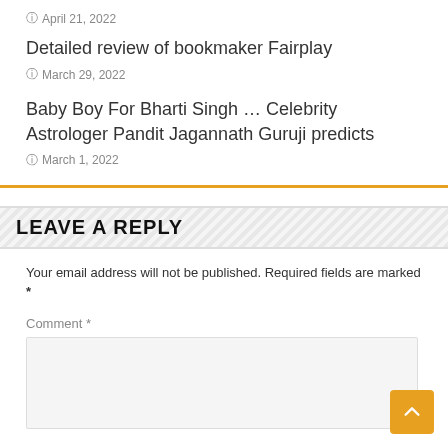April 21, 2022
Detailed review of bookmaker Fairplay
March 29, 2022
Baby Boy For Bharti Singh … Celebrity Astrologer Pandit Jagannath Guruji predicts
March 1, 2022
LEAVE A REPLY
Your email address will not be published. Required fields are marked *
Comment *